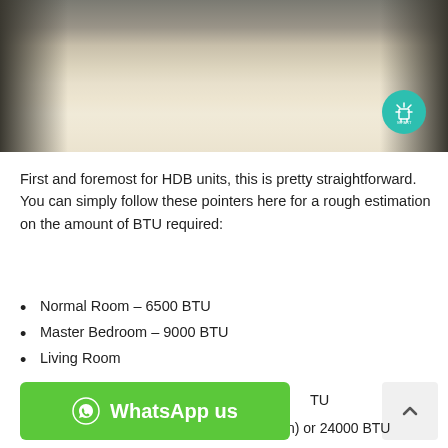[Figure (photo): Interior corridor of a room with light wood-colored flooring, dark grey wardrobe panels on the sides, and a teal/turquoise circular logo watermark in the lower right corner.]
First and foremost for HDB units, this is pretty straightforward. You can simply follow these pointers here for a rough estimation on the amount of BTU required:
Normal Room – 6500 BTU
Master Bedroom – 9000 BTU
Living Room
TU
5 Room Flat – 21000 BTU (Only Daikin) or 24000 BTU